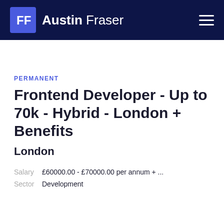Austin Fraser
PERMANENT
Frontend Developer - Up to 70k - Hybrid - London + Benefits
London
Salary  £60000.00 - £70000.00 per annum + ...
Sector  Development